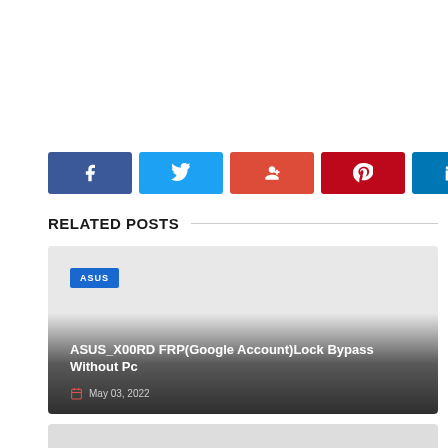[Figure (infographic): Social share buttons: Facebook (dark blue), Twitter (light blue), Google+ (red-orange), Pinterest (dark red), LinkedIn (dark blue)]
RELATED POSTS
[Figure (infographic): Related post card with ASUS tag, title 'ASUS_X00RD FRP(Google Account)Lock Bypass Without Pc', date May 03, 2022]
ASUS_X00RD FRP(Google Account)Lock Bypass Without Pc
May 03, 2022